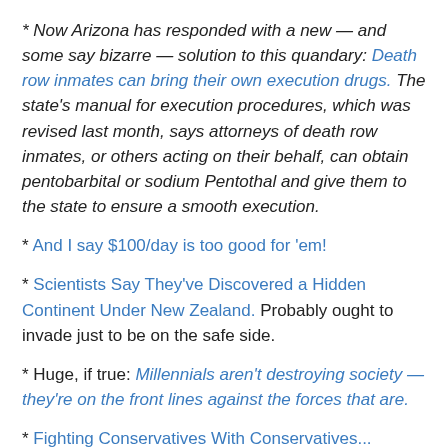* Now Arizona has responded with a new — and some say bizarre — solution to this quandary: Death row inmates can bring their own execution drugs. The state's manual for execution procedures, which was revised last month, says attorneys of death row inmates, or others acting on their behalf, can obtain pentobarbital or sodium Pentothal and give them to the state to ensure a smooth execution.
* And I say $100/day is too good for 'em!
* Scientists Say They've Discovered a Hidden Continent Under New Zealand. Probably ought to invade just to be on the safe side.
* Huge, if true: Millennials aren't destroying society — they're on the front lines against the forces that are.
* Fighting Conservatives With Conservatives...